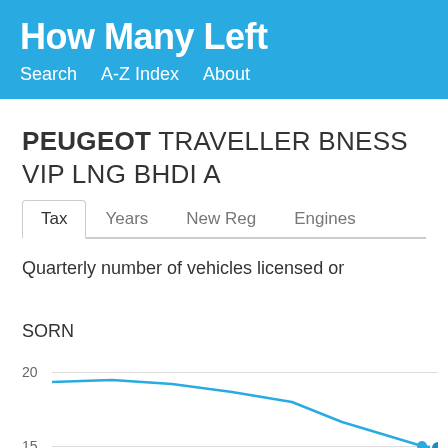How Many Left
Search   A-Z Index   About
PEUGEOT TRAVELLER BNESS VIP LNG BHDI A
Tax   Years   New Reg   Engines
Quarterly number of vehicles licensed or SORN
[Figure (continuous-plot): Partial line chart showing quarterly number of vehicles licensed or SORN. Y-axis shows values 15 and 20 visible. A tooltip shows 2022 Q1 at approximately 15. Chart is partially cut off at bottom.]